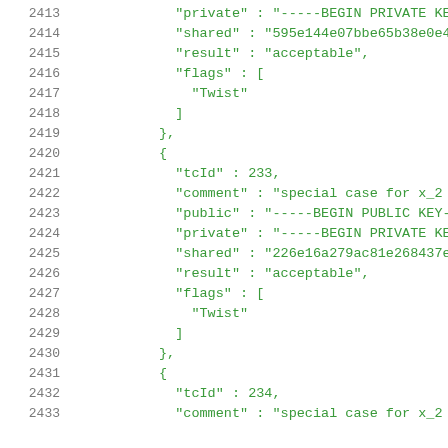Code listing lines 2413-2433, JSON test vector data with tcId, comment, public, private, shared, result, flags fields
2413  "private" : "-----BEGIN PRIVATE KEY--
2414  "shared" : "595e144e07bbe65b38e0e4163
2415  "result" : "acceptable",
2416  "flags" : [
2417    "Twist"
2418  ]
2419  },
2420  {
2421  "tcId" : 233,
2422  "comment" : "special case for x_2 in
2423  "public" : "-----BEGIN PUBLIC KEY----
2424  "private" : "-----BEGIN PRIVATE KEY--
2425  "shared" : "226e16a279ac81e268437eb3e
2426  "result" : "acceptable",
2427  "flags" : [
2428    "Twist"
2429  ]
2430  },
2431  {
2432  "tcId" : 234,
2433  "comment" : "special case for x_2 in